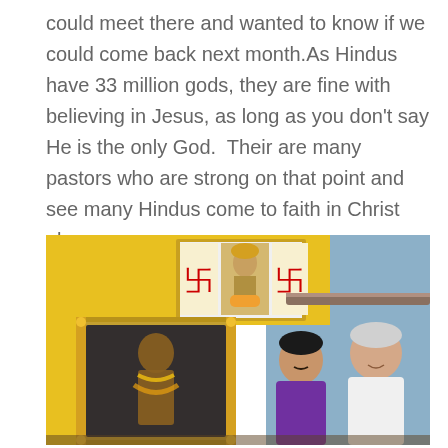could meet there and wanted to know if we could come back next month.As Hindus have 33 million gods, they are fine with believing in Jesus, as long as you don't say He is the only God.  Their are many pastors who are strong on that point and see many Hindus come to faith in Christ alone.
[Figure (photo): Two men standing inside a Hindu temple in front of a decorated deity statue. The background shows yellow and blue painted walls with swastika symbols (Hindu auspicious symbols) and an image of a Hindu deity between them. The man on the left wears a purple shirt and the man on the right wears a white shirt.]